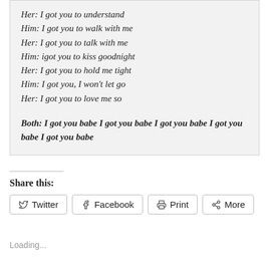Her: I got you to understand
Him: I got you to walk with me
Her: I got you to talk with me
Him: igot you to kiss goodnight
Her: I got you to hold me tight
Him: I got you, I won't let go
Her: I got you to love me so
Both: I got you babe I got you babe I got you babe I got you babe I got you babe
Share this:
Loading...